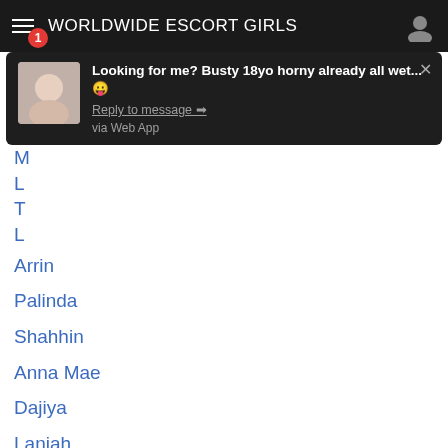WORLDWIDE ESCORT GIRLS
[Figure (screenshot): Push notification popup with thumbnail image showing: 'Looking for me? Busty 18yo horny already all wet...' with 'Reply to message →' link and 'via Web App' text]
Arrin
Palinda
Shahhin
Anna Mae
Dajiya
Lanjah
Melia68
Ninotzka
Cisilija
Elvidotter
Lyrice
Jasana
Valoria
Cantara
Monica Kitty
Sylhane
Kristy Leigh